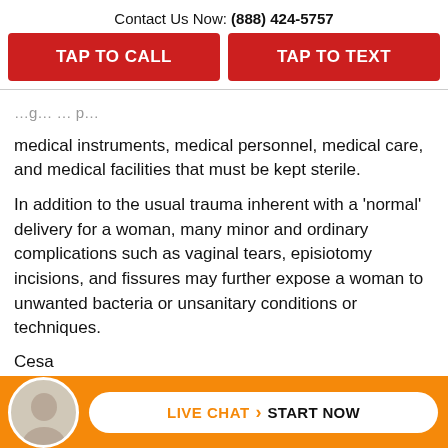Contact Us Now: (888) 424-5757
TAP TO CALL
TAP TO TEXT
medical instruments, medical personnel, medical care, and medical facilities that must be kept sterile.
In addition to the usual trauma inherent with a 'normal' delivery for a woman, many minor and ordinary complications such as vaginal tears, episiotomy incisions, and fissures may further expose a woman to unwanted bacteria or unsanitary conditions or techniques.
Cesa
[Figure (infographic): Orange bottom bar with avatar photo of bald man, and a white pill-shaped button reading LIVE CHAT > START NOW]